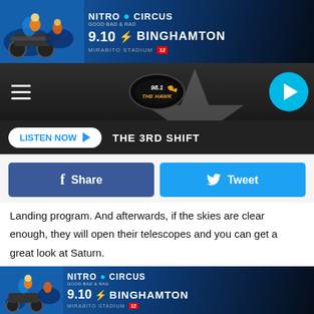[Figure (screenshot): Nitro Circus advertisement banner showing motorcycles and event info: 9.10 Binghamton Mirabito Stadium]
[Figure (screenshot): 98.1 The Hawk radio station navigation bar with hamburger menu, logo, star background, and play button]
LISTEN NOW ▶  THE 3RD SHIFT
[Figure (screenshot): Share and Tweet social media buttons]
Landing program. And afterwards, if the skies are clear enough, they will open their telescopes and you can get a great look at Saturn.
Next Friday, the 19th, they will have a special program celebrating the 50th anniversary of the Apollo 11 Moon Landing. That sounds like it would be a great thing to attend.
[via Kopernik Observatory and Science Center/WBNG]
[Figure (screenshot): Nitro Circus advertisement banner at bottom showing motorcycles and event info: 9.10 Binghamton Mirabito Stadium]